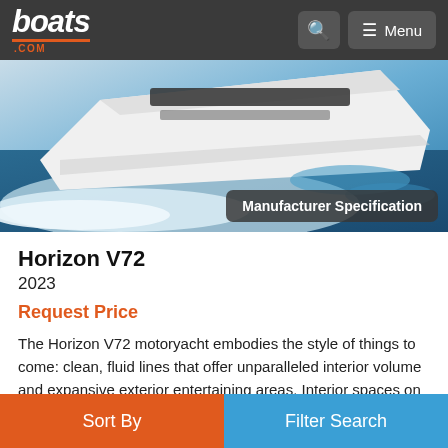boats.com | Menu
[Figure (photo): Aerial view of a large white motoryacht (Horizon V72) cutting through blue water with white wake, shot from above at angle. Badge overlay reads 'Manufacturer Specification'.]
Horizon V72
2023
Request Price
The Horizon V72 motoryacht embodies the style of things to come: clean, fluid lines that offer unparalleled interior volume and expansive exterior entertaining areas. Interior spaces on the V72 luxury yacht are uninterrupted, with a flush deck salon-to-galley transition, an open main deck level, and streamlined lower deck windows that maximize natural light as well a
More…
Sort By | Filter Search